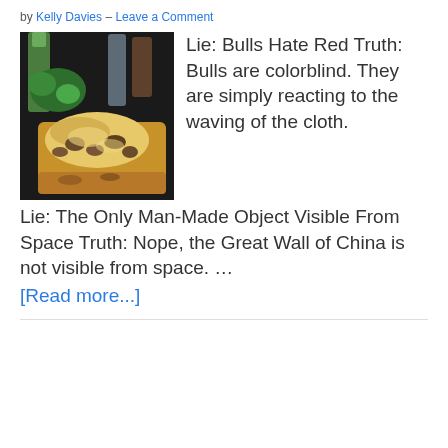by Kelly Davies — Leave a Comment
[Figure (photo): Close-up photo of a baked flatbread topped with mushrooms, melted cheese, and herbs, with green drinks/bottles visible in the background.]
Lie: Bulls Hate Red Truth: Bulls are colorblind. They are simply reacting to the waving of the cloth.
Lie: The Only Man-Made Object Visible From Space Truth: Nope, the Great Wall of China is not visible from space. …
[Read more...]